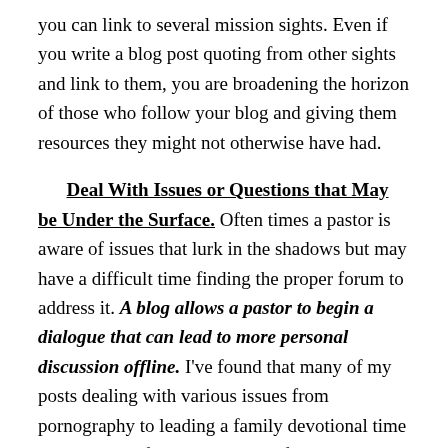you can link to several mission sights. Even if you write a blog post quoting from other sights and link to them, you are broadening the horizon of those who follow your blog and giving them resources they might not otherwise have had.
Deal With Issues or Questions that May be Under the Surface.
Often times a pastor is aware of issues that lurk in the shadows but may have a difficult time finding the proper forum to address it. A blog allows a pastor to begin a dialogue that can lead to more personal discussion offline. I've found that many of my posts dealing with various issues from pornography to leading a family devotional time have allowed folks to talk more freely about issues or